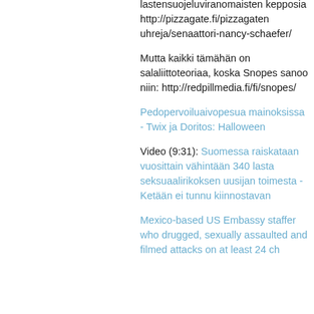lastensuojeluviranomaisten kepposia http://pizzagate.fi/pizzagaten uhreja/senaattori-nancy-schaefer/
Mutta kaikki tämähän on salaliittoteoriaa, koska Snopes sanoo niin: http://redpillmedia.fi/fi/snopes/
Pedopervoiluaivopesua mainoksissa - Twix ja Doritos: Halloween
Video (9:31): Suomessa raiskataan vuosittain vähintään 340 lasta seksuaalirikoksen uusijan toimesta - Ketään ei tunnu kiinnostavan
Mexico-based US Embassy staffer who drugged, sexually assaulted and filmed attacks on at least 24 ch...